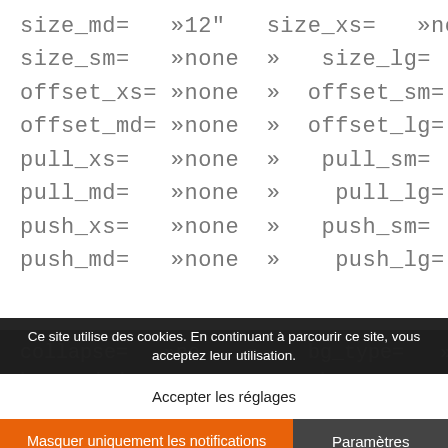size_md= »12" size_xs= »none »
size_sm= »none » size_lg= »none »
offset_xs= »none » offset_sm= »none »
offset_md= »none » offset_lg= »none »
pull_xs= »none » pull_sm= »none »
pull_md= »none » pull_lg= »none »
push_xs= »none » push_sm= »none »
push_md= »none » push_lg= »none »
collapse= »no » bg_type= »none »
bg_position= »center » bg_repeat= »no-repeat »
bg_size= »a... » ... upload_button ... »scroll »
auto ... »5% » ... Little
hISEf... 440015...
Ce site utilise des cookies. En continuant à parcourir ce site, vous acceptez leur utilisation.
Accepter les réglages
Masquer uniquement les notifications
Paramètres